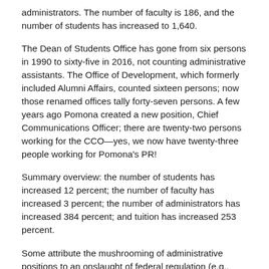administrators. The number of faculty is 186, and the number of students has increased to 1,640.
The Dean of Students Office has gone from six persons in 1990 to sixty-five in 2016, not counting administrative assistants. The Office of Development, which formerly included Alumni Affairs, counted sixteen persons; now those renamed offices tally forty-seven persons. A few years ago Pomona created a new position, Chief Communications Officer; there are twenty-two persons working for the CCO—yes, we now have twenty-three people working for Pomona's PR!
Summary overview: the number of students has increased 12 percent; the number of faculty has increased 3 percent; the number of administrators has increased 384 percent; and tuition has increased 253 percent.
Some attribute the mushrooming of administrative positions to an onslaught of federal regulation (e.g., Clery Act, VAWA, ADA, FERPA, Title IV, Title IX) and increased scrutiny by accrediting agencies. Some point to increased competition for students